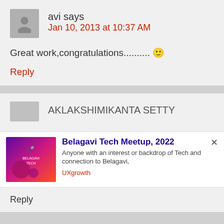avi says
Jan 10, 2013 at 10:37 AM
Great work,congratulations.......... 🙂
Reply
AKLAKSHIMIKANTA SETTY
[Figure (infographic): Belagavi Tech Meetup 2022 advertisement banner with gradient purple-pink image on left, title text and description on right]
Belagavi Tech Meetup, 2022
Anyone with an interest or backdrop of Tech and connection to Belagavi,
UXgrowth
Reply